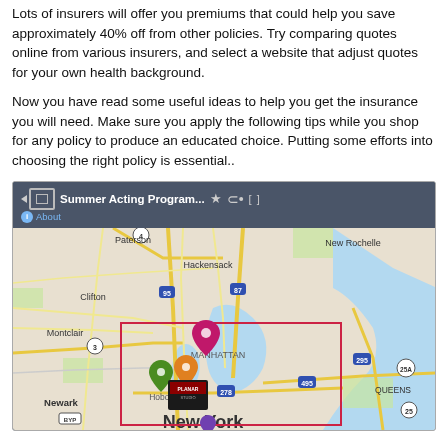Lots of insurers will offer you premiums that could help you save approximately 40% off from other policies. Try comparing quotes online from various insurers, and select a website that adjust quotes for your own health background.
Now you have read some useful ideas to help you get the insurance you will need. Make sure you apply the following tips while you shop for any policy to produce an educated choice. Putting some efforts into choosing the right policy is essential..
[Figure (map): Google Maps screenshot showing the New York metropolitan area with Summer Acting Program location pins in Manhattan/Hoboken area. Map shows Paterson, Hackensack, Clifton, Montclair, Newark, New Rochelle, Queens, Manhattan labeled. Multiple colored map pins (pink/magenta, green, orange) visible in Manhattan/Hoboken area.]